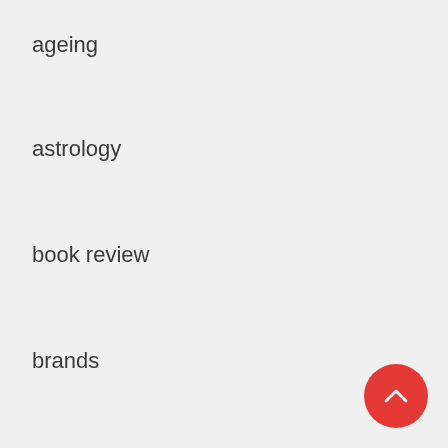ageing
astrology
book review
brands
coffee
consciousness
content writing
Egypt
featured
golf